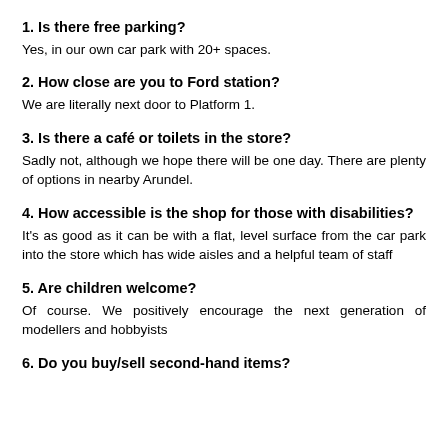1. Is there free parking?
Yes, in our own car park with 20+ spaces.
2. How close are you to Ford station?
We are literally next door to Platform 1.
3. Is there a café or toilets in the store?
Sadly not, although we hope there will be one day. There are plenty of options in nearby Arundel.
4. How accessible is the shop for those with disabilities?
It's as good as it can be with a flat, level surface from the car park into the store which has wide aisles and a helpful team of staff
5. Are children welcome?
Of course. We positively encourage the next generation of modellers and hobbyists
6. Do you buy/sell second-hand items?